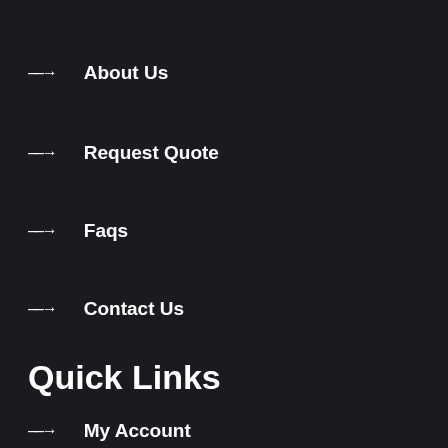About Us
Request Quote
Faqs
Contact Us
Quick Links
My Account
Wishlist
Terms & Conditions